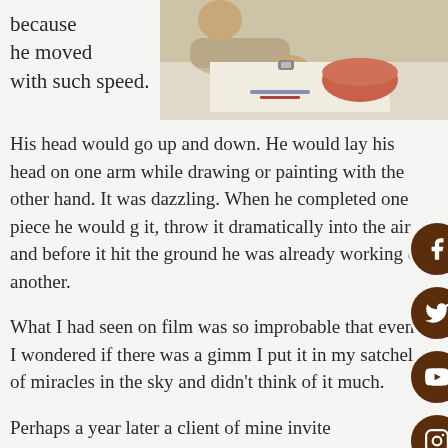[Figure (photo): Photo of a person drawing or painting at a table with an orange bowl nearby]
because he moved with such speed.
His head would go up and down. He would lay his head on one arm while drawing or painting with the other hand. It was dazzling. When he completed one piece he would g[rab] it, throw it dramatically into the air and before it hit the ground he was already working o[n] another.
What I had seen on film was so improbable that even I wondered if there was a gimm[ick]. I put it in my satchel of miracles in the sky and didn't think of it much.
Perhaps a year later a client of mine invite[d]